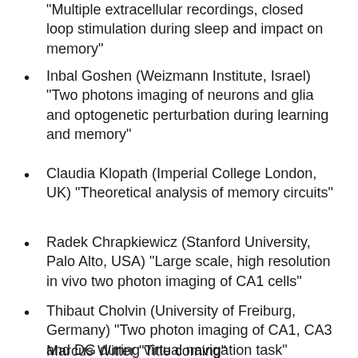"Multiple extracellular recordings, closed loop stimulation during sleep and impact on memory"
Inbal Goshen (Weizmann Institute, Israel) "Two photons imaging of neurons and glia and optogenetic perturbation during learning and memory"
Claudia Klopath (Imperial College London, UK) "Theoretical analysis of memory circuits"
Radek Chrapkiewicz (Stanford University, Palo Alto, USA) "Large scale, high resolution in vivo two photon imaging of CA1 cells"
Thibaut Cholvin (University of Freiburg, Germany) "Two photon imaging of CA1, CA3 and DG during virtual navigation task"
Marcus Witter "Title coming"